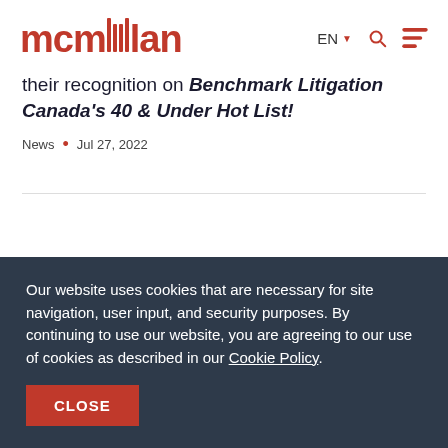mcmillan — EN (navigation header)
their recognition on Benchmark Litigation Canada's 40 & Under Hot List!
News • Jul 27, 2022
Our website uses cookies that are necessary for site navigation, user input, and security purposes. By continuing to use our website, you are agreeing to our use of cookies as described in our Cookie Policy.